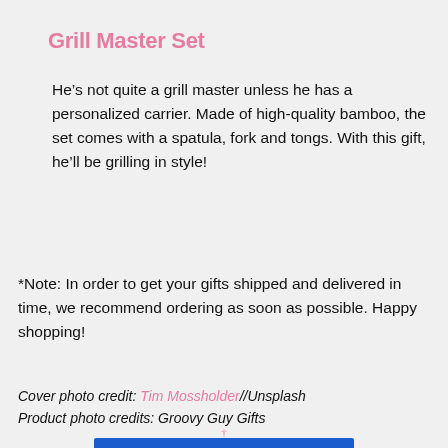Grill Master Set
He’s not quite a grill master unless he has a personalized carrier. Made of high-quality bamboo, the set comes with a spatula, fork and tongs. With this gift, he’ll be grilling in style!
*Note: In order to get your gifts shipped and delivered in time, we recommend ordering as soon as possible. Happy shopping!
Cover photo credit: Tim Mossholder//Unsplash
Product photo credits: Groovy Guy Gifts